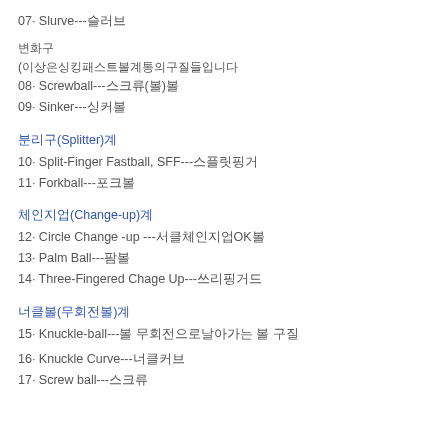07· Slurve---슬러브
변화구
(이상은싱킹패스트볼계통의구질들입니다
08· Screwball---스크류(볼)볼
09· Sinker---싱커볼
분리구(Splitter)계
10· Split-Finger Fastball, SFF---스플릿핑거
11· Forkball---포크볼
체인지업(Change-up)계
12· Circle Change -up ---서클체인지업OK볼
13· Palm Ball---팜볼
14· Three-Fingered Chage Up---쓰리핑거드
너클볼(무회전볼)계
15· Knuckle-ball---볼 무회전으로날아가는 볼 구질
16· Knuckle Curve---너클커브
17· Screw ball---스크류